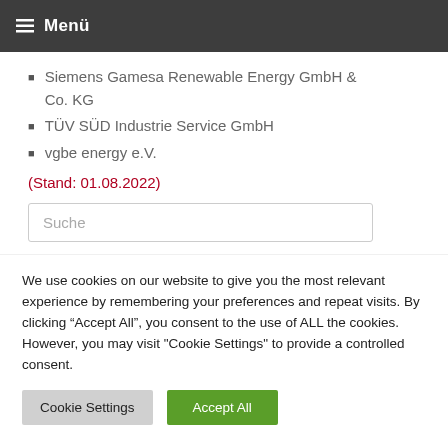Menü
Siemens Gamesa Renewable Energy GmbH & Co. KG
TÜV SÜD Industrie Service GmbH
vgbe energy e.V.
(Stand: 01.08.2022)
Suche
We use cookies on our website to give you the most relevant experience by remembering your preferences and repeat visits. By clicking "Accept All", you consent to the use of ALL the cookies. However, you may visit "Cookie Settings" to provide a controlled consent.
Cookie Settings | Accept All